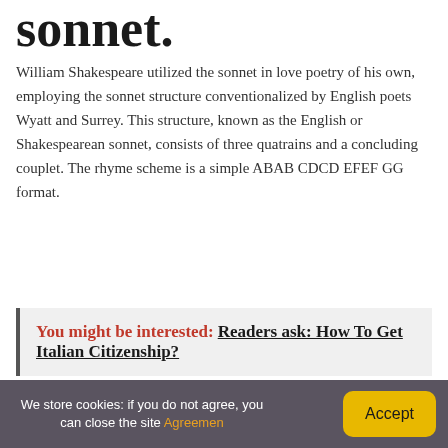sonnet.
William Shakespeare utilized the sonnet in love poetry of his own, employing the sonnet structure conventionalized by English poets Wyatt and Surrey. This structure, known as the English or Shakespearean sonnet, consists of three quatrains and a concluding couplet. The rhyme scheme is a simple ABAB CDCD EFEF GG format.
You might be interested: Readers ask: How To Get Italian Citizenship?
Do sonnets have a
We store cookies: if you do not agree, you can close the site Agreemen